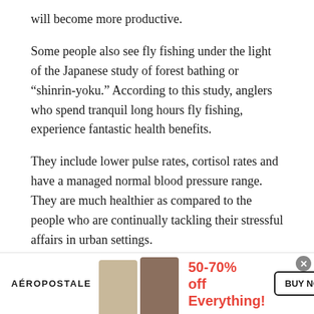will become more productive.
Some people also see fly fishing under the light of the Japanese study of forest bathing or “shinrin-yoku.” According to this study, anglers who spend tranquil long hours fly fishing, experience fantastic health benefits.
They include lower pulse rates, cortisol rates and have a managed normal blood pressure range. They are much healthier as compared to the people who are continually tackling their stressful affairs in urban settings.
[Figure (other): Advertisement banner for AEROPOSTALE showing two female models, text reading 50-70% off Everything! and a BUY NOW button]